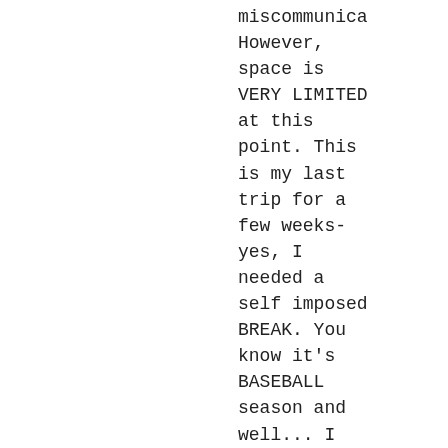miscommunica- However, space is VERY LIMITED at this point. This is my last trip for a few weeks- yes, I needed a self imposed BREAK. You know it's BASEBALL season and well... I don't want to miss